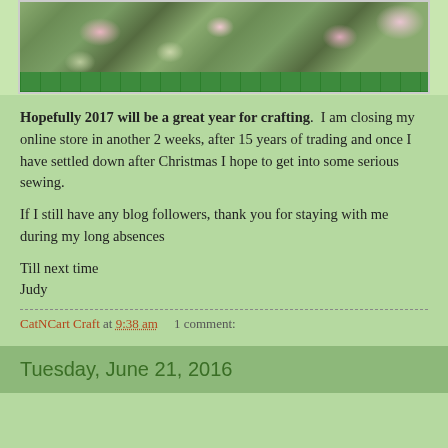[Figure (photo): Partial view of a floral/crafting image on a green cutting mat background, showing flowers and greenery]
Hopefully 2017 will be a great year for crafting.  I am closing my online store in another 2 weeks, after 15 years of trading and once I have settled down after Christmas I hope to get into some serious sewing.
If I still have any blog followers, thank you for staying with me during my long absences
Till next time
Judy
CatNCart Craft at 9:38 am    1 comment:
Tuesday, June 21, 2016